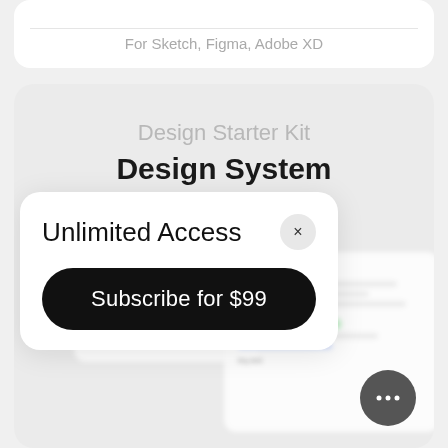For Sketch, Figma, Adobe XD
Design Starter Kit
Design System
Unlimited Access
Subscribe for $99